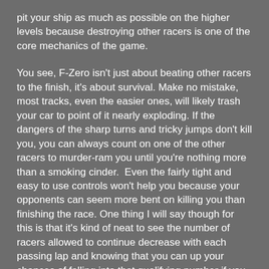pit your ship as much as possible on the higher levels because destroying other racers is one of the core mechanics of the game.
You see, F-Zero isn't just about beating other racers to the finish, it's about survival. Make no mistake, most tracks, even the easier ones, will likely trash your car to point of it nearly exploding. If the dangers of the sharp turns and tricky jumps don't kill you, you can always count on one of the other racers to murder-ram you until you're nothing more than a smoking cinder.  Even the fairly tight and easy to use controls won't help you because your opponents can seem more bent on killing you than finishing the race. One thing I will say though for this is that it's kind of neat to see the number of racers allowed to continue decrease with each passing lap and knowing that you can up your chances of falling into that qualifying number if you simply bump off the other racers.
Memories and New Thoughts: